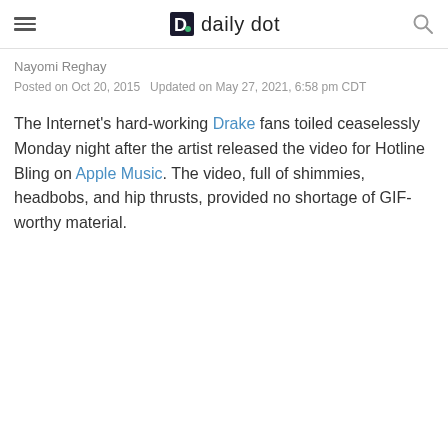daily dot
Nayomi Reghay
Posted on Oct 20, 2015   Updated on May 27, 2021, 6:58 pm CDT
The Internet's hard-working Drake fans toiled ceaselessly Monday night after the artist released the video for Hotline Bling on Apple Music. The video, full of shimmies, headbobs, and hip thrusts, provided no shortage of GIF-worthy material.